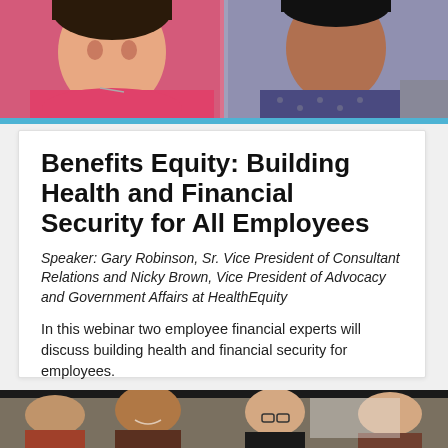[Figure (photo): Two people shown from shoulders up – a woman in a pink top and a man in a patterned shirt, cropped headshots side by side]
Benefits Equity: Building Health and Financial Security for All Employees
Speaker: Gary Robinson, Sr. Vice President of Consultant Relations and Nicky Brown, Vice President of Advocacy and Government Affairs at HealthEquity
In this webinar two employee financial experts will discuss building health and financial security for employees.
[Figure (photo): Group of women smiling and talking in an office or workplace setting]